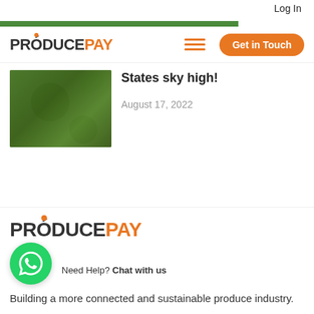Log In
[Figure (logo): ProducePay logo with orange dot above the O and hamburger menu icon and Get in Touch orange button]
[Figure (photo): Close-up photo of green avocados on a tree with leaves]
States sky high!
August 17, 2022
[Figure (logo): ProducePay footer logo in larger size]
Need Help? Chat with us
Building a more connected and sustainable produce industry.